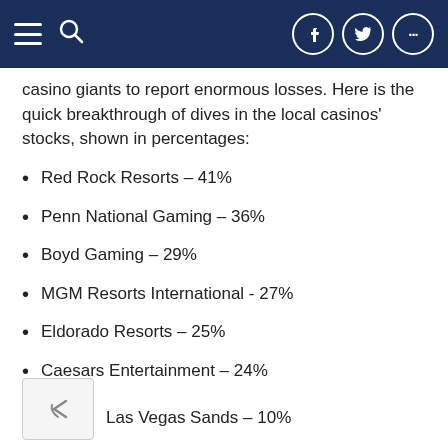Navigation header with hamburger menu, search icon, and social media icons (Facebook, Twitter, more)
casino giants to report enormous losses. Here is the quick breakthrough of dives in the local casinos' stocks, shown in percentages:
Red Rock Resorts – 41%
Penn National Gaming – 36%
Boyd Gaming – 29%
MGM Resorts International - 27%
Eldorado Resorts – 25%
Caesars Entertainment – 24%
Las Vegas Sands – 10%